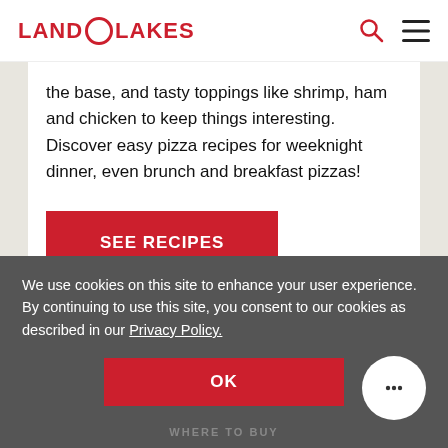LAND O LAKES
the base, and tasty toppings like shrimp, ham and chicken to keep things interesting. Discover easy pizza recipes for weeknight dinner, even brunch and breakfast pizzas!
SEE RECIPES
We use cookies on this site to enhance your user experience. By continuing to use this site, you consent to our cookies as described in our Privacy Policy.
OK
WHERE TO BUY